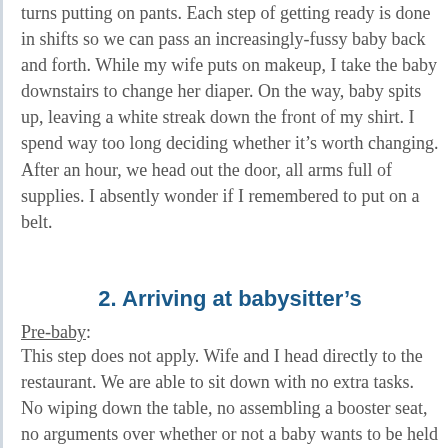turns putting on pants. Each step of getting ready is done in shifts so we can pass an increasingly-fussy baby back and forth. While my wife puts on makeup, I take the baby downstairs to change her diaper. On the way, baby spits up, leaving a white streak down the front of my shirt. I spend way too long deciding whether it's worth changing. After an hour, we head out the door, all arms full of supplies. I absently wonder if I remembered to put on a belt.
2. Arriving at babysitter's
Pre-baby: This step does not apply. Wife and I head directly to the restaurant. We are able to sit down with no extra tasks. No wiping down the table, no assembling a booster seat, no arguments over whether or not a baby wants to be held or left alone. We just sit and browse the menus.